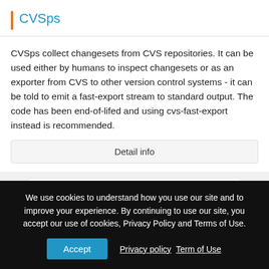CVSps
CVSps collect changesets from CVS repositories. It can be used either by humans to inspect changesets or as an exporter from CVS to other version control systems - it can be told to emit a fast-export stream to standard output. The code has been end-of-lifed and using cvs-fast-export instead is recommended.
Detail info
Average
0.0
We use cookies to understand how you use our site and to improve your experience. By continuing to use our site, you accept our use of cookies, Privacy Policy and Terms of Use.
Accept   Privacy policy   Term of Use